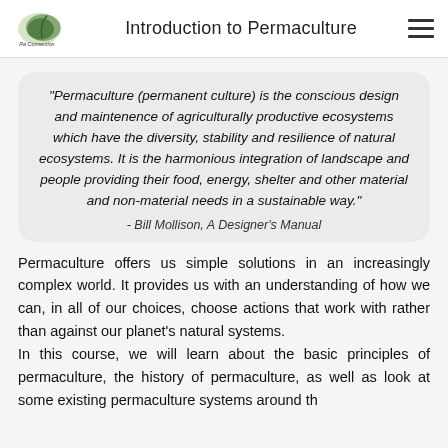Introduction to Permaculture
"Permaculture (permanent culture) is the conscious design and maintenence of agriculturally productive ecosystems which have the diversity, stability and resilience of natural ecosystems. It is the harmonious integration of landscape and people providing their food, energy, shelter and other material and non-material needs in a sustainable way." - Bill Mollison, A Designer's Manual
Permaculture offers us simple solutions in an increasingly complex world. It provides us with an understanding of how we can, in all of our choices, choose actions that work with rather than against our planet's natural systems.
In this course, we will learn about the basic principles of permaculture, the history of permaculture, as well as look at some existing permaculture systems around th...